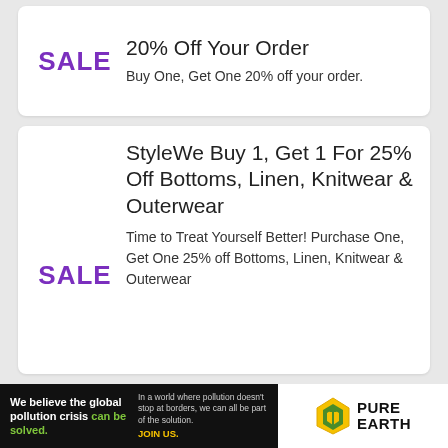20% Off Your Order
Buy One, Get One 20% off your order.
StyleWe Buy 1, Get 1 For 25% Off Bottoms, Linen, Knitwear & Outerwear
Time to Treat Yourself Better! Purchase One, Get One 25% off Bottoms, Linen, Knitwear & Outerwear
[Figure (infographic): Pure Earth advertisement banner: black background with white bold text 'We believe the global pollution crisis can be solved.' with 'can be solved.' in green. Right side shows small text 'In a world where pollution doesn't stop at borders, we can all be part of the solution. JOIN US.' with JOIN US in yellow. White section on far right with Pure Earth logo (diamond shape with arrow) and bold text PURE EARTH.]